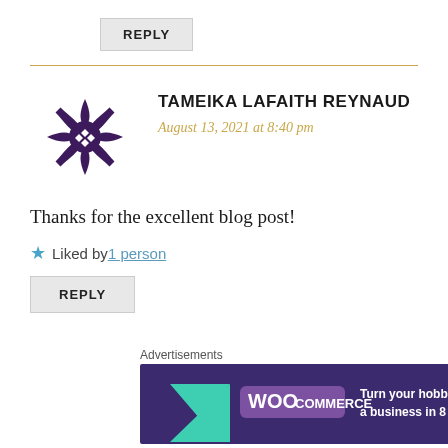REPLY
TAMEIKA LAFAITH REYNAUD
August 13, 2021 at 8:40 pm
Thanks for the excellent blog post!
★ Liked by 1 person
REPLY
Advertisements
[Figure (screenshot): WooCommerce advertisement banner: purple background with teal and orange shapes, WooCommerce logo, text 'Turn your hobby into a business in 8 steps']